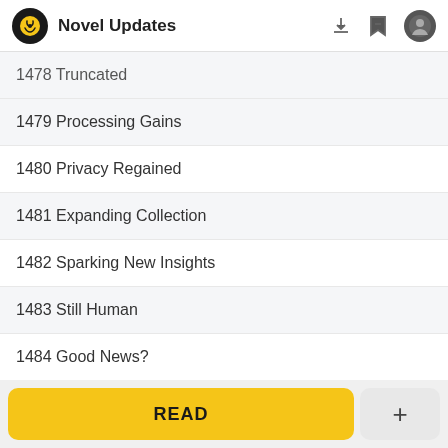Novel Updates
1478 Truncated
1479 Processing Gains
1480 Privacy Regained
1481 Expanding Collection
1482 Sparking New Insights
1483 Still Human
1484 Good News?
1485 Preoccupied
READ